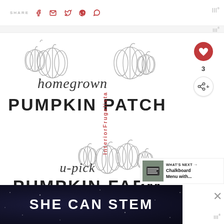SHARE
[Figure (illustration): Pumpkin patch printable art with outline pumpkin drawings, script text 'homegrown' and 'u-pick' and bold sans-serif text 'PUMPKIN PATCH' and 'PUMPKIN FARM', with vertical watermark text overlaid]
[Figure (screenshot): Bottom dark advertisement banner reading 'SHE CAN STEM' in large white bold text on dark starry background]
WHAT'S NEXT → Chalkboard Menu with...